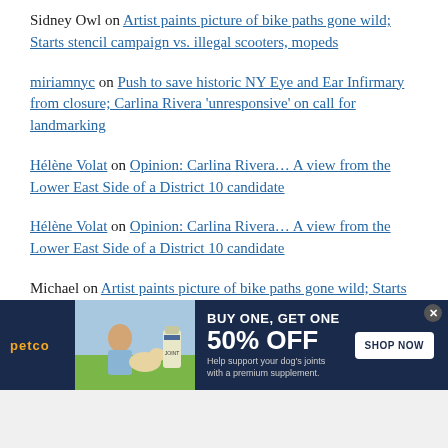Sidney Owl on Artist paints picture of bike paths gone wild; Starts stencil campaign vs. illegal scooters, mopeds
miriamnyc on Push to save historic NY Eye and Ear Infirmary from closure; Carlina Rivera 'unresponsive' on call for landmarking
Hélène Volat on Opinion: Carlina Rivera… A view from the Lower East Side of a District 10 candidate
Hélène Volat on Opinion: Carlina Rivera… A view from the Lower East Side of a District 10 candidate
Michael on Artist paints picture of bike paths gone wild; Starts stencil campaign vs. illegal scooters,
[Figure (infographic): Petco advertisement banner: BUY ONE, GET ONE 50% OFF on dog joint supplement. Shows petco logo, woman with dog image, product bottle, and SHOP NOW button.]